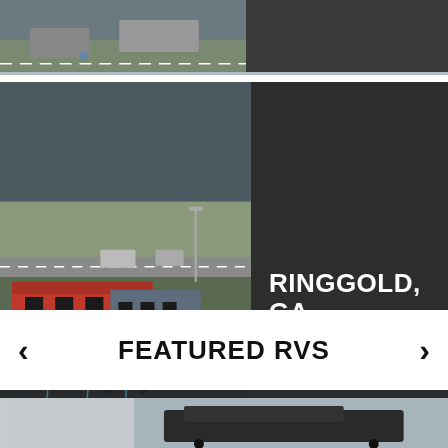[Figure (photo): Top partial strip showing parking lot with vehicles and pavement markings, dark panel on right]
[Figure (photo): Aerial/elevated view of RV dealership building in Ringgold, GA — red metal building with logo, gray block section, parking lot with vehicles]
RINGGOLD, GA
SHOP NOW
FEATURED RVS
[Figure (photo): Partial bottom image showing a vehicle/RV on a gray overcast background]